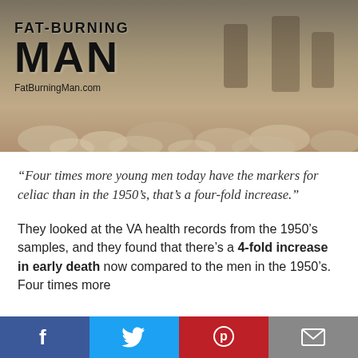[Figure (photo): Fat-Burning Man logo over sepia vintage photograph background with stones. Shows 'FAT-BURNING MAN' text and 'FatBurningMan.com' URL.]
“Four times more young men today have the markers for celiac than in the 1950’s, that’s a four-fold increase.”
They looked at the VA health records from the 1950’s samples, and they found that there’s a 4-fold increase in early death now compared to the men in the 1950’s. Four times more
[Figure (infographic): Social sharing bar with four buttons: Facebook (blue), Twitter (light blue), Pinterest (red), Email (grey).]